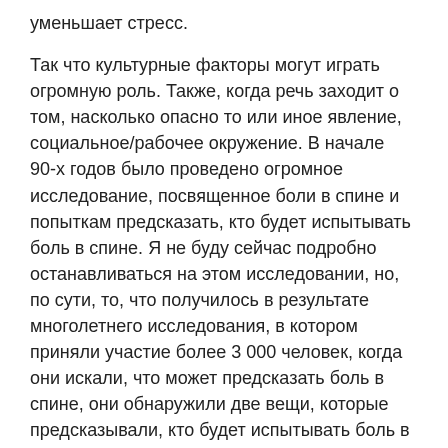уменьшает стресс.
Так что культурные факторы могут играть огромную роль. Также, когда речь заходит о том, насколько опасно то или иное явление, социальное/рабочее окружение. В начале 90-х годов было проведено огромное исследование, посвященное боли в спине и попыткам предсказать, кто будет испытывать боль в спине. Я не буду сейчас подробно останавливаться на этом исследовании, но, по сути, то, что получилось в результате многолетнего исследования, в котором приняли участие более 3 000 человек, когда они искали, что может предсказать боль в спине, они обнаружили две вещи, которые предсказывали, кто будет испытывать боль в спине в следующем году. Первая – курение, вторая – неудовлетворенность работой. В этом исследовании они рассматривали силу сердечника, силу разгибателей, должностные